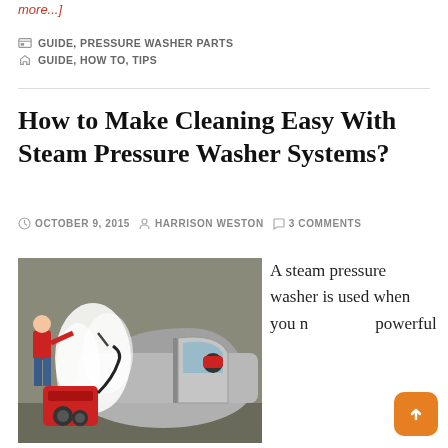more...]
GUIDE, PRESSURE WASHER PARTS / GUIDE, HOW TO, TIPS
How to Make Cleaning Easy With Steam Pressure Washer Systems?
OCTOBER 9, 2015  HARRISON WESTON  3 COMMENTS
[Figure (photo): A man in a red shirt using a steam pressure washer on a car, with another person inside the car. Red and black pressure washer machine visible in foreground with steam billowing.]
A steam pressure washer is used when you need more powerful